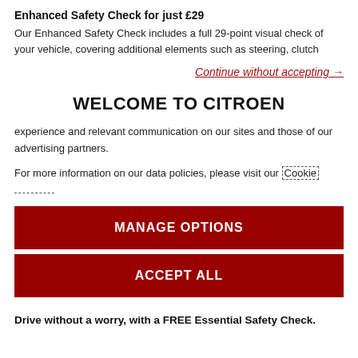Enhanced Safety Check for just £29
Our Enhanced Safety Check includes a full 29-point visual check of your vehicle, covering additional elements such as steering, clutch
Continue without accepting →
WELCOME TO CITROEN
experience and relevant communication on our sites and those of our advertising partners.
For more information on our data policies, please visit our Cookie
MANAGE OPTIONS
ACCEPT ALL
Drive without a worry, with a FREE Essential Safety Check.